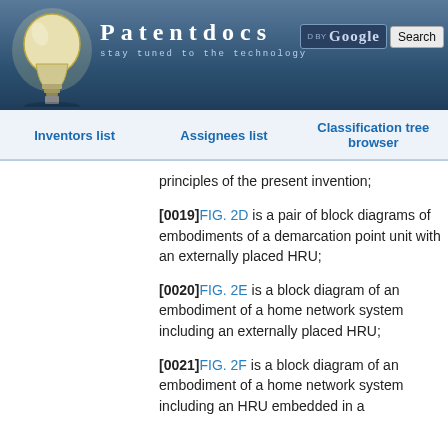[Figure (logo): Patentdocs website header with light bulb logo, site title 'Patentdocs', subtitle 'stay tuned to the technology', and Google search bar]
Inventors list   Assignees list   Classification tree browser
principles of the present invention;
[0019]FIG. 2D is a pair of block diagrams of embodiments of a demarcation point unit with an externally placed HRU;
[0020]FIG. 2E is a block diagram of an embodiment of a home network system including an externally placed HRU;
[0021]FIG. 2F is a block diagram of an embodiment of a home network system including an HRU embedded in a